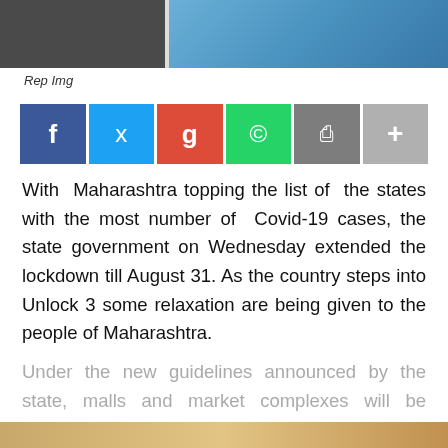[Figure (photo): Top portion of a news article photo showing people, one wearing blue gloves, partially cropped at top of page]
Rep Img
[Figure (infographic): Social media sharing buttons: Facebook (blue), Twitter (cyan), Google+ (red), WhatsApp (green), Print (grey), More (light grey)]
With  Maharashtra topping the list of  the states with the most number of  Covid-19 cases, the state government on Wednesday extended the lockdown till August 31. As the country steps into Unlock 3 some relaxation are being given to the people of Maharashtra.
Under the new guidelines announced by the state, malls and market complexes will be allowed to function from 9
Read More
Taboola Feed